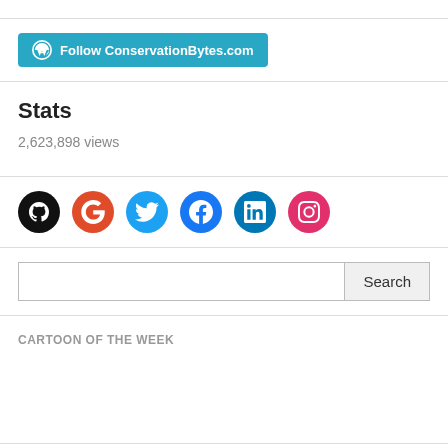[Figure (logo): Follow ConservationBytes.com button in teal/cyan color with WordPress icon]
Stats
2,623,898 views
[Figure (infographic): Row of social media icons: GitHub (black), Google (red), Twitter (blue), Facebook (blue), LinkedIn (dark blue), Instagram (pink)]
[Figure (screenshot): Search bar with Search button]
CARTOON OF THE WEEK